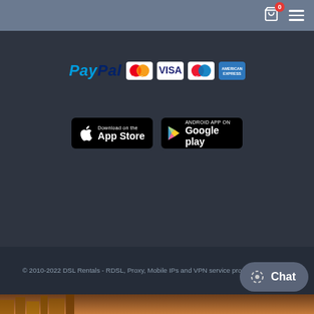Navigation header with basket (0 items) and hamburger menu
[Figure (logo): Payment logos: PayPal, MasterCard, VISA, Maestro, American Express]
[Figure (logo): App Store download button (Apple)]
[Figure (logo): Google Play Android app button]
© 2010-2022 DSL Rentals - RDSL, Proxy, Mobile IPs and VPN service provider in the USA.
[Figure (photo): City aerial view strip at bottom]
[Figure (other): Chat button in lower right corner]